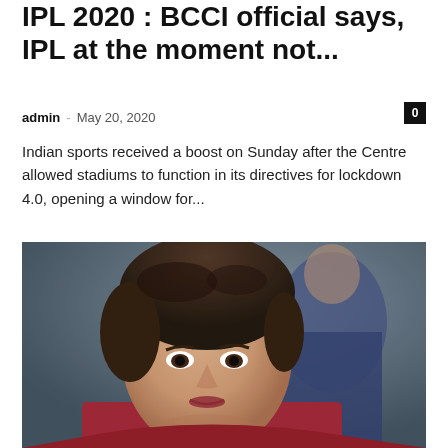IPL 2020 : BCCI official says, IPL at the moment not...
admin · May 20, 2020
Indian sports received a boost on Sunday after the Centre allowed stadiums to function in its directives for lockdown 4.0, opening a window for...
[Figure (photo): Close-up photo of a woman with short dark hair, wearing a dark red/maroon scarf, smiling slightly. A man in a blue jacket is partially visible in the background.]